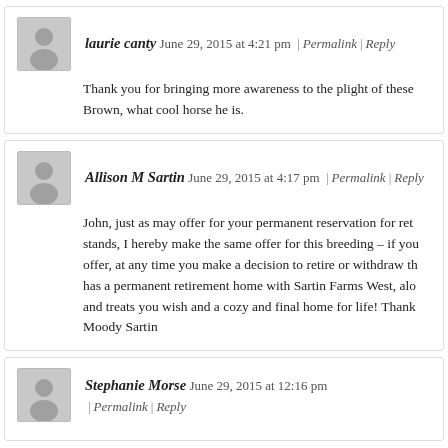laurie canty June 29, 2015 at 4:21 pm | Permalink | Reply
Thank you for bringing more awareness to the plight of these Brown, what cool horse he is.
Allison M Sartin June 29, 2015 at 4:17 pm | Permalink | Reply
John, just as may offer for your permanent reservation for ret stands, I hereby make the same offer for this breeding – if you offer, at any time you make a decision to retire or withdraw th has a permanent retirement home with Sartin Farms West, alo and treats you wish and a cozy and final home for life! Thank Moody Sartin
Stephanie Morse June 29, 2015 at 12:16 pm | Permalink | Reply